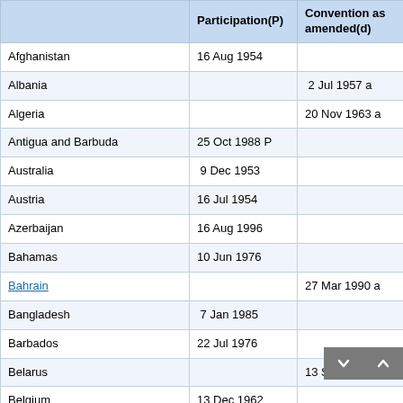|  | Participation(P) | Convention as amended(d) |
| --- | --- | --- |
| Afghanistan | 16 Aug 1954 |  |
| Albania |  | 2 Jul 1957 a |
| Algeria |  | 20 Nov 1963 a |
| Antigua and Barbuda | 25 Oct 1988 P |  |
| Australia | 9 Dec 1953 |  |
| Austria | 16 Jul 1954 |  |
| Azerbaijan | 16 Aug 1996 |  |
| Bahamas | 10 Jun 1976 |  |
| Bahrain |  | 27 Mar 1990 a |
| Bangladesh | 7 Jan 1985 |  |
| Barbados | 22 Jul 1976 |  |
| Belarus |  | 13 Sep 1956 a |
| Belgium | 13 Dec 1962 |  |